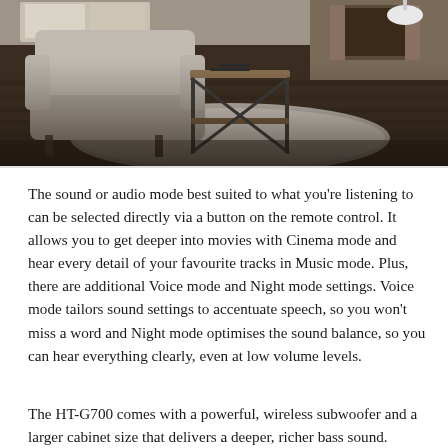[Figure (photo): Living room interior with a grey armchair, a metal and wood side table, a white fluffy rug on dark hardwood floors, and a fireplace in the background. Shot from above at an angle.]
The sound or audio mode best suited to what you're listening to can be selected directly via a button on the remote control. It allows you to get deeper into movies with Cinema mode and hear every detail of your favourite tracks in Music mode. Plus, there are additional Voice mode and Night mode settings. Voice mode tailors sound settings to accentuate speech, so you won't miss a word and Night mode optimises the sound balance, so you can hear everything clearly, even at low volume levels.
The HT-G700 comes with a powerful, wireless subwoofer and a larger cabinet size that delivers a deeper, richer bass sound.